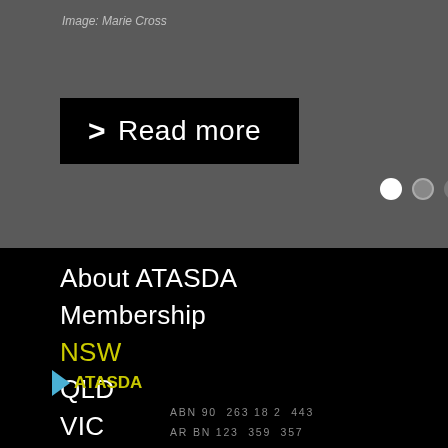Image: Marie Cross
[Figure (screenshot): Black button with right-pointing arrow and text 'Read more']
[Figure (infographic): Three navigation dots: one white, two gray]
About ATASDA
Membership
NSW
QLD
VIC
Galleries
Contact Us
[Figure (logo): ATASDA logo with triangle and yellow text]
ABN 90 263 182 443
ARBN 123 359 357